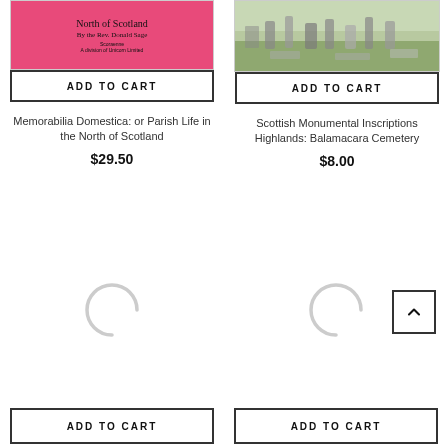[Figure (photo): Pink book cover: 'North of Scotland, By the Rev. Donald Sage, Scoraenne, A division of Unicorn Limited']
[Figure (photo): Photo of a Scottish cemetery with gravestones on green grass]
ADD TO CART
ADD TO CART
Memorabilia Domestica: or Parish Life in the North of Scotland
Scottish Monumental Inscriptions Highlands: Balamacara Cemetery
$29.50
$8.00
[Figure (other): Loading spinner / circular loading indicator]
[Figure (other): Loading spinner / circular loading indicator]
ADD TO CART
ADD TO CART